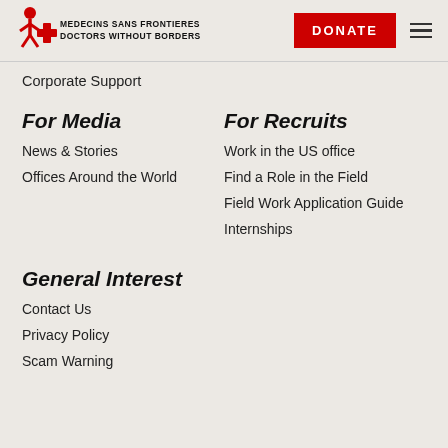[Figure (logo): Médecins Sans Frontières / Doctors Without Borders logo with red figure and text]
DONATE
Corporate Support
For Media
News & Stories
Offices Around the World
For Recruits
Work in the US office
Find a Role in the Field
Field Work Application Guide
Internships
General Interest
Contact Us
Privacy Policy
Scam Warning